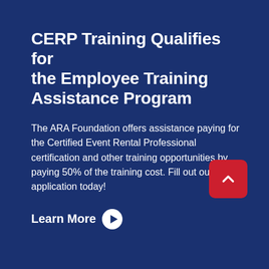CERP Training Qualifies for the Employee Training Assistance Program
The ARA Foundation offers assistance paying for the Certified Event Rental Professional certification and other training opportunities by paying 50% of the training cost. Fill out our short application today!
Learn More